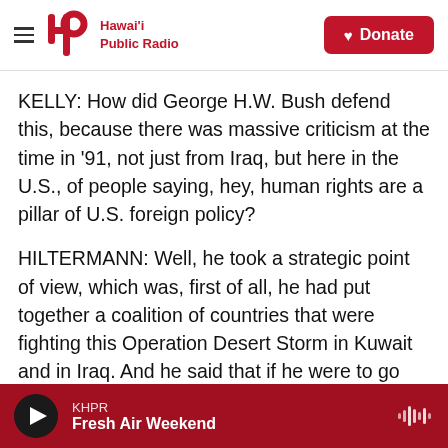Hawai'i Public Radio — Donate
KELLY: How did George H.W. Bush defend this, because there was massive criticism at the time in '91, not just from Iraq, but here in the U.S., of people saying, hey, human rights are a pillar of U.S. foreign policy?
HILTERMANN: Well, he took a strategic point of view, which was, first of all, he had put together a coalition of countries that were fighting this Operation Desert Storm in Kuwait and in Iraq. And he said that if he were to go further and go into Baghdad and remove the regime, he would lose his allies because that's not what they had agreed to
KHPR — Fresh Air Weekend